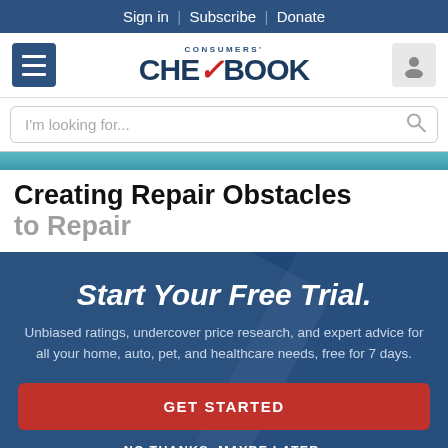Sign in | Subscribe | Donate
[Figure (logo): Consumers' Checkbook logo with red checkmark]
I'm looking for...
Creating Repair Obstacles
Start Your Free Trial.
Unbiased ratings, undercover price research, and expert advice for all your home, auto, pet, and healthcare needs, free for 7 days.
GET STARTED
NO THANKS, MAYBE LATER.